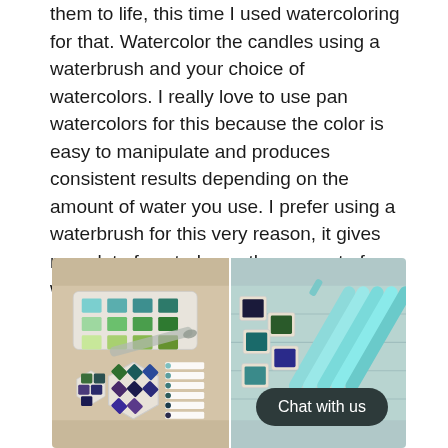them to life, this time I used watercoloring for that. Watercolor the candles using a waterbrush and your choice of watercolors. I really love to use pan watercolors for this because the color is easy to manipulate and produces consistent results depending on the amount of water you use. I prefer using a waterbrush for this very reason, it gives me a lot of control over the amount of water I apply.
[Figure (photo): Two photos side by side: left shows pan watercolor palettes (hexagonal and rectangular) with color swatches on white paper; right shows waterbrush pens with pan watercolor squares arranged on a wooden surface. A 'Chat with us' button overlays the bottom right of the right photo.]